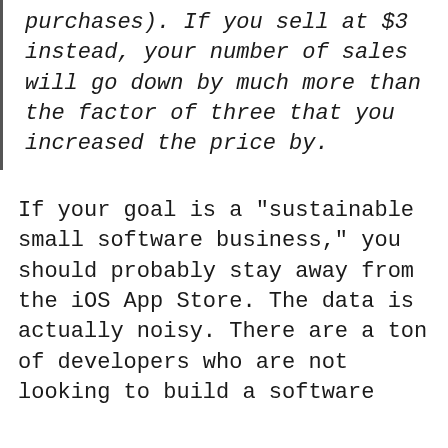purchases). If you sell at $3 instead, your number of sales will go down by much more than the factor of three that you increased the price by.
If your goal is a "sustainable small software business," you should probably stay away from the iOS App Store. The data is actually noisy. There are a ton of developers who are not looking to build a software